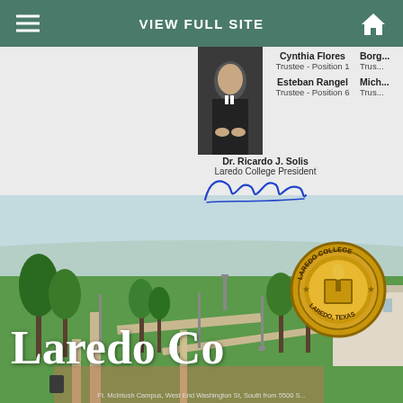VIEW FULL SITE
Cynthia Flores
Trustee - Position 1
Esteban Rangel
Trustee - Position 6
Mich...
Trus...
Borg...
Trus...
[Figure (photo): Portrait photo of a man in a dark suit]
Dr. Ricardo J. Solis
Laredo College President
[Figure (illustration): Handwritten signature of Dr. Ricardo J. Solis in blue ink]
[Figure (photo): Aerial campus photo of Laredo College showing green lawns, palm trees, paths, and modern buildings]
[Figure (logo): Laredo College official seal - circular gold seal with text LAREDO COLLEGE and LAREDO, TEXAS]
Laredo Co
Ft. McIntosh Campus, West End Washington St, South from 5500 S...